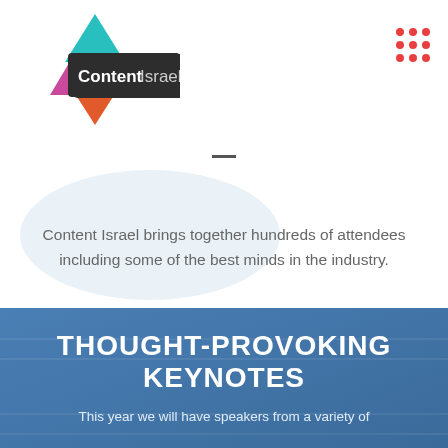[Figure (logo): Content Israel logo: a Star of David shape with colorful triangles (teal, pink/magenta, orange/red) and a dark hexagonal badge reading 'Content Israel' in bold white and grey text]
Content Israel brings together hundreds of attendees including some of the best minds in the industry.
THOUGHT-PROVOKING KEYNOTES
This year we will have speakers from a variety of